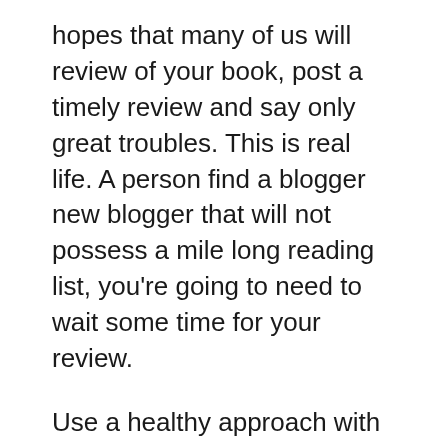hopes that many of us will review of your book, post a timely review and say only great troubles. This is real life. A person find a blogger new blogger that will not possess a mile long reading list, you're going to need to wait some time for your review.
Use a healthy approach with writing book reviews and if you see that reviewing a given book is or will cast a harmful shadow; is actually your option to not join in a book review. Better left unsaid are going to will cause future considerations.
A review company is going to take a evaluation book, make out the print and then write content articles about who's. They can then post the review anywhere online the